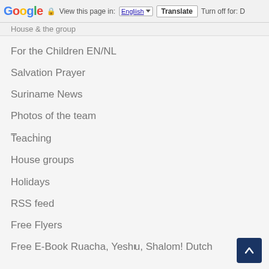Google  View this page in: English [▼]  Translate  Turn off for: D
House & the group
For the Children EN/NL
Salvation Prayer
Suriname News
Photos of the team
Teaching
House groups
Holidays
RSS feed
Free Flyers
Free E-Book Ruacha, Yeshu, Shalom! Dutch